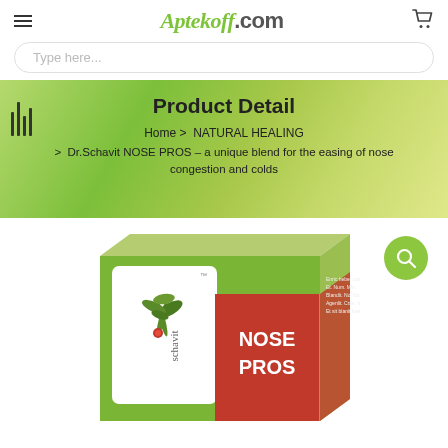Aptekoff.com
Type here...
Product Detail
Home > NATURAL HEALING > Dr.Schavit NOSE PROS – a unique blend for the easing of nose congestion and colds
[Figure (photo): Product box of Dr.Schavit NOSE PROS on white background with green label and red band showing NOSE PROS text]